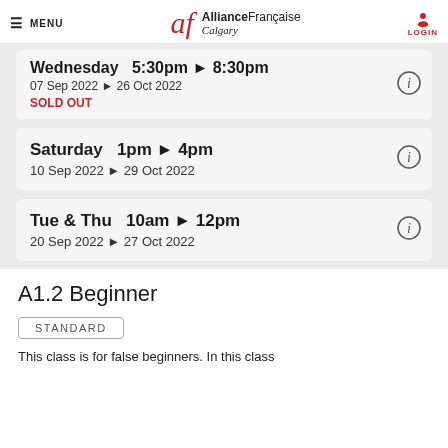MENU | Alliance Française Calgary | LOGIN
Wednesday 5:30pm ► 8:30pm
07 Sep 2022 ► 26 Oct 2022
SOLD OUT
Saturday 1pm ► 4pm
10 Sep 2022 ► 29 Oct 2022
Tue & Thu 10am ► 12pm
20 Sep 2022 ► 27 Oct 2022
A1.2 Beginner
STANDARD
This class is for false beginners. In this class